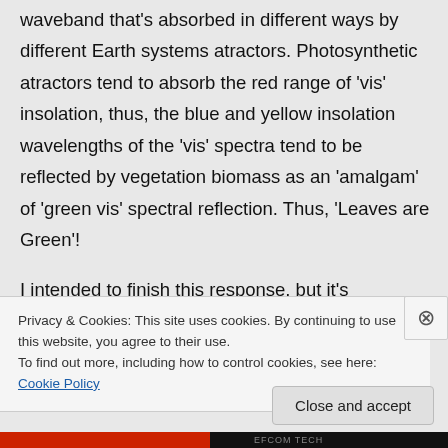waveband that's absorbed in different ways by different Earth systems atractors. Photosynthetic atractors tend to absorb the red range of 'vis' insolation, thus, the blue and yellow insolation wavelengths of the 'vis' spectra tend to be reflected by vegetation biomass as an 'amalgam' of 'green vis' spectral reflection. Thus, 'Leaves are Green'!
I intended to finish this response, but it's
Privacy & Cookies: This site uses cookies. By continuing to use this website, you agree to their use.
To find out more, including how to control cookies, see here: Cookie Policy
Close and accept